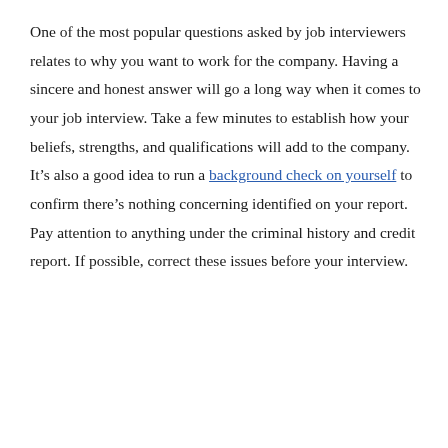One of the most popular questions asked by job interviewers relates to why you want to work for the company. Having a sincere and honest answer will go a long way when it comes to your job interview. Take a few minutes to establish how your beliefs, strengths, and qualifications will add to the company. It's also a good idea to run a background check on yourself to confirm there's nothing concerning identified on your report. Pay attention to anything under the criminal history and credit report. If possible, correct these issues before your interview.